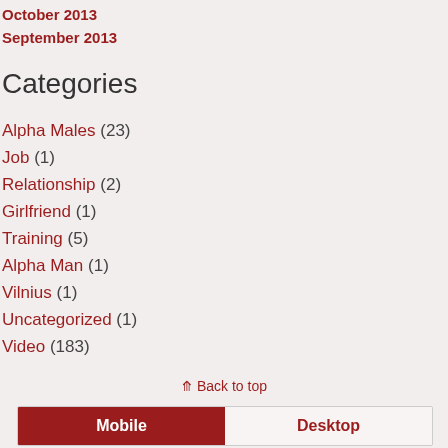October 2013
September 2013
Categories
Alpha Males (23)
Job (1)
Relationship (2)
Girlfriend (1)
Training (5)
Alpha Man (1)
Vilnius (1)
Uncategorized (1)
Video (183)
⇑ Back to top